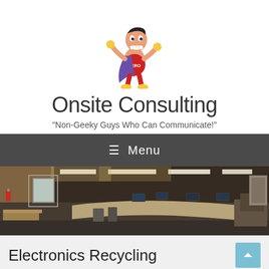[Figure (illustration): Cartoon superhero mascot character wearing a red outfit with 'HERO' text, purple cape, and yellow gloves/boots, posing confidently]
Onsite Consulting
"Non-Geeky Guys Who Can Communicate!"
≡  Menu
[Figure (photo): Panoramic photo of an office/IT workspace interior showing cubicles, computer workstations, overhead fluorescent lighting, and office furniture]
Electronics Recycling